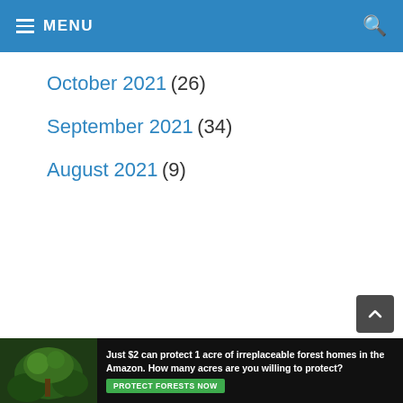MENU
October 2021 (26)
September 2021 (34)
August 2021 (9)
Category
Canned Food
Dry Food
Homemade Food
[Figure (photo): Ad banner: forest/Amazon imagery with text 'Just $2 can protect 1 acre of irreplaceable forest homes in the Amazon. How many acres are you willing to protect?' and a green 'PROTECT FORESTS NOW' button]